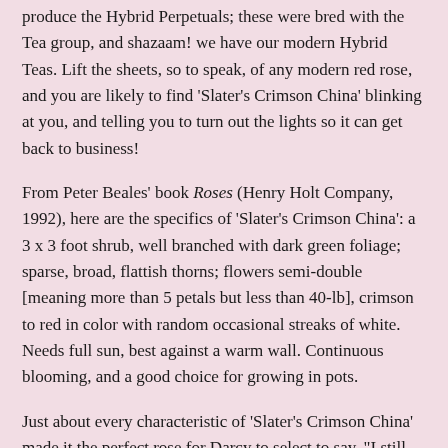produce the Hybrid Perpetuals; these were bred with the Tea group, and shazaam! we have our modern Hybrid Teas. Lift the sheets, so to speak, of any modern red rose, and you are likely to find 'Slater's Crimson China' blinking at you, and telling you to turn out the lights so it can get back to business!
From Peter Beales' book Roses (Henry Holt Company, 1992), here are the specifics of 'Slater's Crimson China': a 3 x 3 foot shrub, well branched with dark green foliage; sparse, broad, flattish thorns; flowers semi-double [meaning more than 5 petals but less than 40-lb], crimson to red in color with random occasional streaks of white. Needs full sun, best against a warm wall. Continuous blooming, and a good choice for growing in pots.
Just about every characteristic of 'Slater's Crimson China' made it the perfect rose for Darcy to select to say, "I still love you". This is the traditional meaning of an open rose, implying a lasting mature love, where an opening bud might imply affection in its infancy. Red has always invoked love. Since the action of this story mainly takes place in late July, I had to find a rose easily available in 1812, and capable of blooming all summer. Most of the old garden roses of European origin would have been long finished by the first of July, let alone the